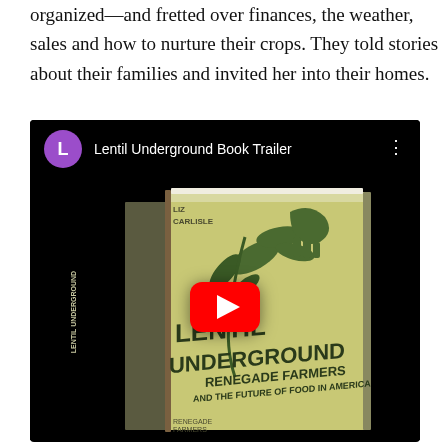organized—and fretted over finances, the weather, sales and how to nurture their crops. They told stories about their families and invited her into their homes.
[Figure (screenshot): YouTube video embed showing 'Lentil Underground Book Trailer' with a book cover image of 'Lentil Underground: Renegade Farmers and the Future of Food in America' displayed against a black background, with a red YouTube play button overlay.]